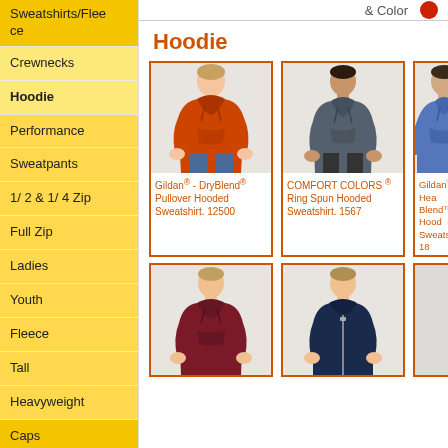Sweatshirts/Fleece
Crewnecks
Hoodie
Performance
Sweatpants
1/ 2 & 1/ 4 Zip
Full Zip
Ladies
Youth
Fleece
Tall
Heavyweight
Caps
Activewear
Outerwear
Woven Shirts
Workwear
& Color
Hoodie
[Figure (photo): Man wearing orange Gildan DryBlend Pullover Hooded Sweatshirt]
Gildan® - DryBlend® Pullover Hooded Sweatshirt. 12500
[Figure (photo): Man wearing slate Comfort Colors Ring Spun Hooded Sweatshirt]
COMFORT COLORS ® Ring Spun Hooded Sweatshirt. 1567
[Figure (photo): Man wearing blue Gildan Heather Blend Hooded Sweatshirt (partial view)]
Gildan® - Heather Blend™ Hooded Sweatshirt. 18...
[Figure (photo): Man wearing maroon pullover hoodie]
[Figure (photo): Man wearing navy full zip hoodie with white undershirt]
[Figure (photo): Partial product image (third item in second row)]